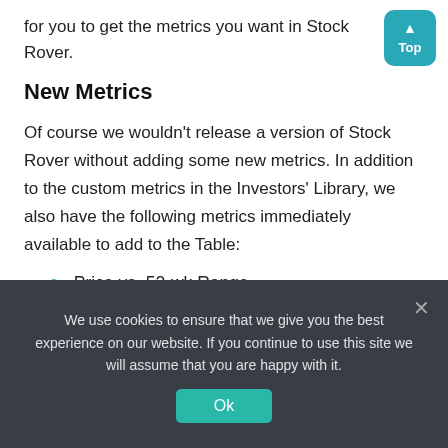for you to get the metrics you want in Stock Rover.
New Metrics
Of course we wouldn’t release a version of Stock Rover without adding some new metrics. In addition to the custom metrics in the Investors’ Library, we also have the following metrics immediately available to add to the Table:
Price vs. 52-wk Range
Total Debt
We use cookies to ensure that we give you the best experience on our website. If you continue to use this site we will assume that you are happy with it.